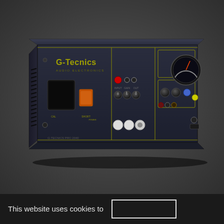[Figure (photo): A rack-mounted audio electronics unit (G-Tecnics brand) with dark blue/black chassis, featuring various knobs, buttons, connectors, and a large VU meter on the right side. The unit has yellow accent markings and the G-Tecnics logo visible on the front panel. The device sits on a dark grey background.]
This website uses cookies to